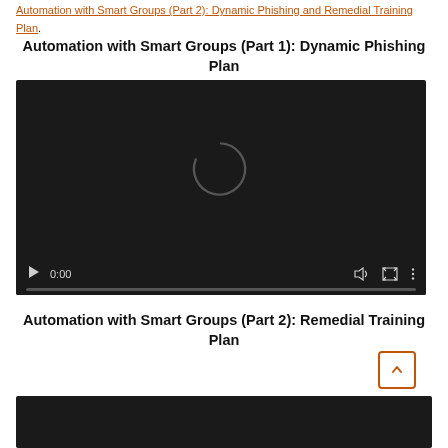Automation with Smart Groups (Part 2): Dynamic Phishing and Remedial Training Plan.
Automation with Smart Groups (Part 1): Dynamic Phishing Plan
[Figure (screenshot): Video player showing a loading spinner, with controls: play button, timestamp 0:00, volume icon, fullscreen icon, and options icon. Progress bar at bottom.]
Automation with Smart Groups (Part 2): Remedial Training Plan
[Figure (screenshot): Bottom portion of a second video player, dark background, partially visible.]